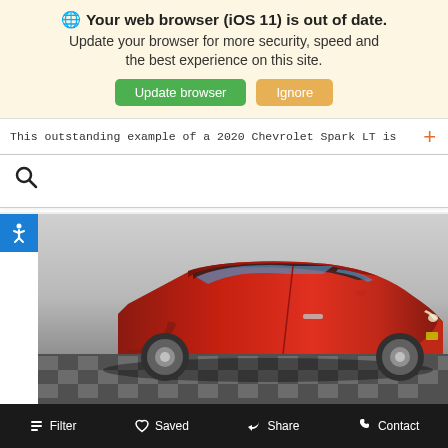🌐 Your web browser (iOS 11) is out of date. Update your browser for more security, speed and the best experience on this site. [Update browser] [Ignore]
This outstanding example of a 2020 Chevrolet Spark LT is
[Figure (screenshot): Search bar with magnifying glass icon]
[Figure (photo): Red 2020 Chevrolet Spark LT hatchback photographed in a studio setting on a checkered floor]
Filter   Saved   Share   Contact